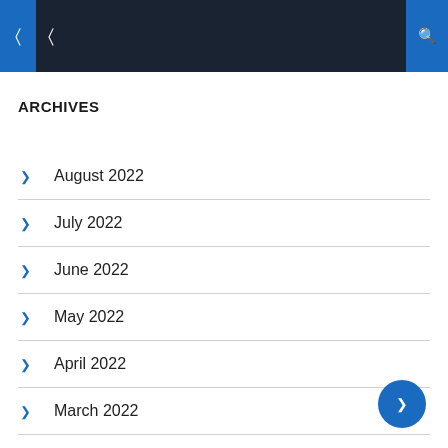Navigation bar with icons
ARCHIVES
August 2022
July 2022
June 2022
May 2022
April 2022
March 2022
February 2022